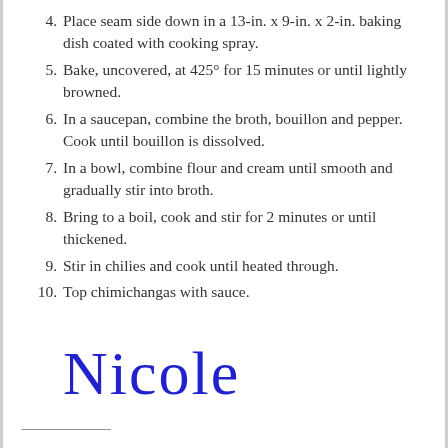4. Place seam side down in a 13-in. x 9-in. x 2-in. baking dish coated with cooking spray.
5. Bake, uncovered, at 425° for 15 minutes or until lightly browned.
6. In a saucepan, combine the broth, bouillon and pepper. Cook until bouillon is dissolved.
7. In a bowl, combine flour and cream until smooth and gradually stir into broth.
8. Bring to a boil, cook and stir for 2 minutes or until thickened.
9. Stir in chilies and cook until heated through.
10. Top chimichangas with sauce.
[Figure (illustration): Handwritten cursive signature reading 'Nicole' in blue ink]